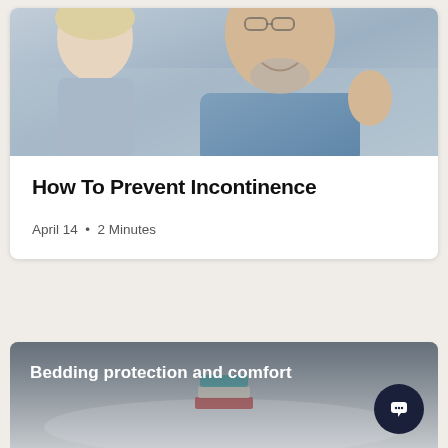[Figure (photo): Photo of an older man with gray beard in a blue shirt smiling, with a woman visible to the left, warm conversational setting]
How To Prevent Incontinence
April 14 · 2 Minutes
[Figure (photo): Photo of a bed with white bedding and books on top, representing bedding protection products]
Bedding protection and comfort